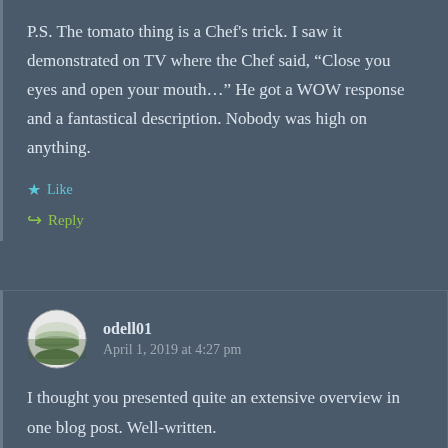P.S. The tomato thing is a Chef's trick. I saw it demonstrated on TV where the Chef said, “Close you eyes and open your mouth…” He got a WOW response and a fantastical description. Nobody was high on anything.
Like
Reply
odell01
April 1, 2019 at 4:27 pm
I thought you presented quite an extensive overview in one blog post. Well-written.